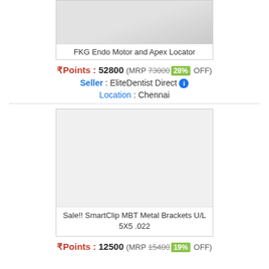[Figure (photo): FKG Endo Motor and Apex Locator product image on light background]
FKG Endo Motor and Apex Locator
₹Points : 52800 (MRP 73000 28% OFF)
Seller : EliteDentist Direct ℹ
Location : Chennai
[Figure (photo): Sale!! SmartClip MBT Metal Brackets U/L 5X5 .022 product image]
Sale!! SmartClip MBT Metal Brackets U/L 5X5 .022
₹Points : 12500 (MRP 15400 19% OFF)